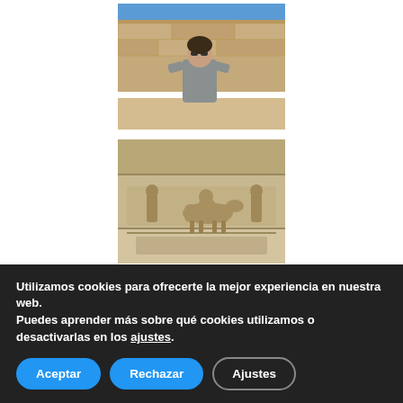[Figure (photo): Person wearing sunglasses and a grey jacket standing in front of large ancient stone walls under a blue sky (archaeological site, likely Persepolis or similar Persian ruins)]
[Figure (photo): Close-up of ancient stone relief carvings on a rock face, depicting figures on horseback and standing figures in a bas-relief style typical of Achaemenid or Sasanian Persian art]
Utilizamos cookies para ofrecerte la mejor experiencia en nuestra web.
Puedes aprender más sobre qué cookies utilizamos o desactivarlas en los ajustes.
Aceptar   Rechazar   Ajustes